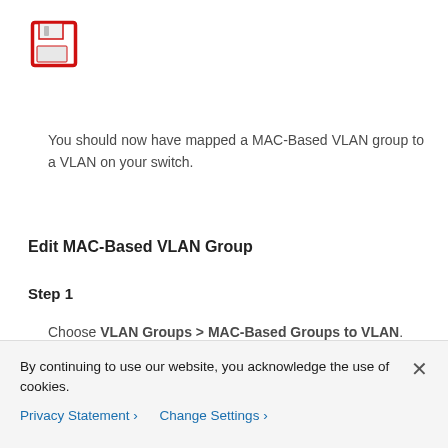[Figure (logo): Red floppy disk save icon]
You should now have mapped a MAC-Based VLAN group to a VLAN on your switch.
Edit MAC-Based VLAN Group
Step 1
Choose VLAN Groups > MAC-Based Groups to VLAN.
[Figure (screenshot): Dark-themed UI screenshot showing a green dot/button at the bottom]
By continuing to use our website, you acknowledge the use of cookies.
Privacy Statement > Change Settings >